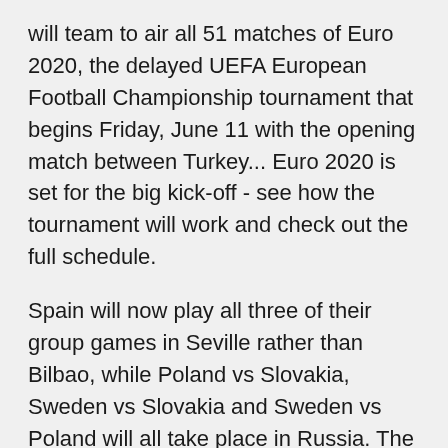will team to air all 51 matches of Euro 2020, the delayed UEFA European Football Championship tournament that begins Friday, June 11 with the opening match between Turkey... Euro 2020 is set for the big kick-off - see how the tournament will work and check out the full schedule.
Spain will now play all three of their group games in Seville rather than Bilbao, while Poland vs Slovakia, Sweden vs Slovakia and Sweden vs Poland will all take place in Russia. The last 16 match Jun 14, 2021 · Poland is the stronger team and they'll come out with the victory. Lewandowski's name pops up repeatedly throughout this preview, and for good reason. In fact, expect his name to be repeated in the broadcast as well. He could have a two-goal day as Poland gets the win 3-0. How to watch Euro 2020 Tournament May 12,